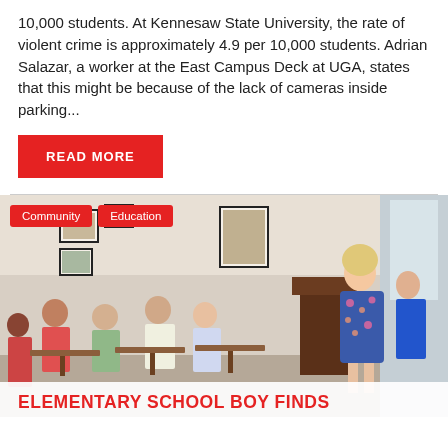10,000 students. At Kennesaw State University, the rate of violent crime is approximately 4.9 per 10,000 students. Adrian Salazar, a worker at the East Campus Deck at UGA, states that this might be because of the lack of cameras inside parking...
READ MORE
Community | Education
[Figure (photo): A classroom scene with students seated at desks and a woman in a floral dress presenting at a podium. Framed pictures hang on the wall in the background.]
ELEMENTARY SCHOOL BOY FINDS